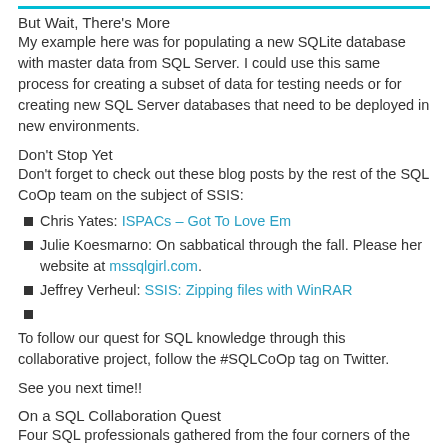But Wait, There's More
My example here was for populating a new SQLite database with master data from SQL Server. I could use this same process for creating a subset of data for testing needs or for creating new SQL Server databases that need to be deployed in new environments.
Don't Stop Yet
Don't forget to check out these blog posts by the rest of the SQL CoOp team on the subject of SSIS:
Chris Yates: ISPACs – Got To Love Em
Julie Koesmarno: On sabbatical through the fall. Please her website at mssqlgirl.com.
Jeffrey Verheul: SSIS: Zipping files with WinRAR
To follow our quest for SQL knowledge through this collaborative project, follow the #SQLCoOp tag on Twitter.
See you next time!!
On a SQL Collaboration Quest
Four SQL professionals gathered from the four corners of the world to share their SQL knowledge with each other and with their readers: